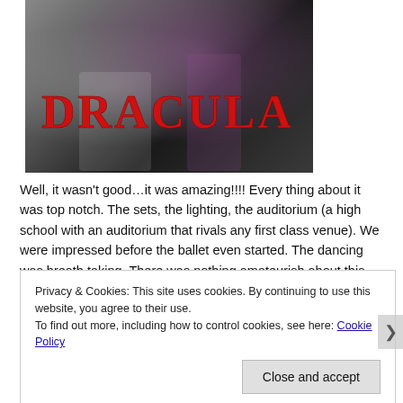[Figure (photo): Performance photo from a ballet production of Dracula, with the word DRACULA in large red text overlaid on the image. Dancers in dramatic costumes on a dark stage with purple/pink lighting.]
Well, it wasn't good…it was amazing!!!! Every thing about it was top notch. The sets, the lighting, the auditorium (a high school with an auditorium that rivals any first class venue). We were impressed before the ballet even started. The dancing was breath taking. There was nothing amateurish about this production. Run time was only 90 minutes with a fifteen minute intermission. Each ballet they perform is appropriate for all
Privacy & Cookies: This site uses cookies. By continuing to use this website, you agree to their use.
To find out more, including how to control cookies, see here: Cookie Policy
Close and accept